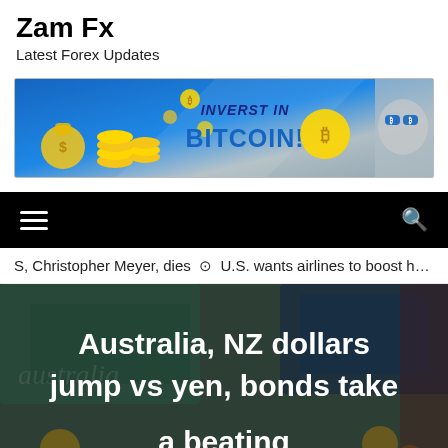Zam Fx
Latest Forex Updates
[Figure (infographic): Bitcoin investment advertisement banner with coins, money bag graphic, and stylized portrait wearing Bitcoin sunglasses. Text reads 'INVERST IN BITCOIN!']
[Figure (screenshot): Black navigation bar with hamburger menu icon on left and search icon on right]
S, Christopher Meyer, dies   ⊙  U.S. wants airlines to boost h
[Figure (photo): Background photo of Australian and New Zealand currency notes and coins, overlaid with white bold text: 'Australia, NZ dollars jump vs yen, bonds take a beating']
Australia, NZ dollars jump vs yen, bonds take a beating